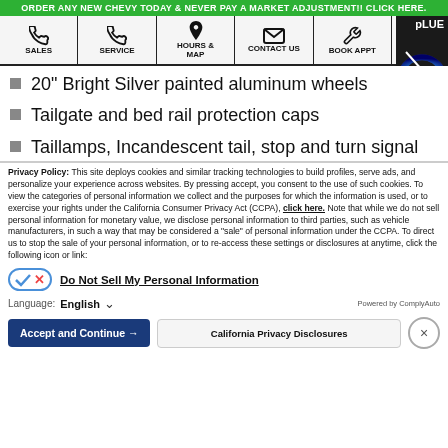ORDER ANY NEW CHEVY TODAY & NEVER PAY A MARKET ADJUSTMENT!! CLICK HERE.
[Figure (screenshot): Navigation bar with icons for SALES, SERVICE, HOURS & MAP, CONTACT US, BOOK APPT, MENU and a speedometer thumbnail]
20" Bright Silver painted aluminum wheels
Tailgate and bed rail protection caps
Taillamps, Incandescent tail, stop and turn signal
Privacy Policy: This site deploys cookies and similar tracking technologies to build profiles, serve ads, and personalize your experience across websites. By pressing accept, you consent to the use of such cookies. To view the categories of personal information we collect and the purposes for which the information is used, or to exercise your rights under the California Consumer Privacy Act (CCPA), click here. Note that while we do not sell personal information for monetary value, we disclose personal information to third parties, such as vehicle manufacturers, in such a way that may be considered a "sale" of personal information under the CCPA. To direct us to stop the sale of your personal information, or to re-access these settings or disclosures at anytime, click the following icon or link:
Do Not Sell My Personal Information
Language: English — Powered by ComplyAuto
Accept and Continue →   California Privacy Disclosures   ×